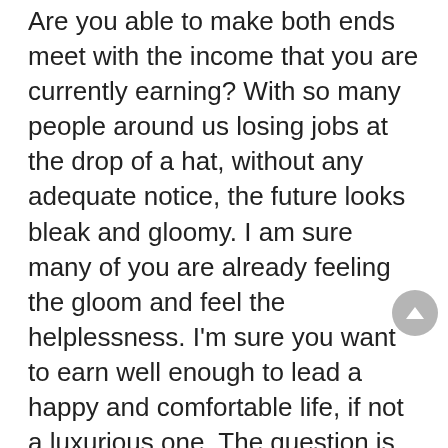Are you able to make both ends meet with the income that you are currently earning? With so many people around us losing jobs at the drop of a hat, without any adequate notice, the future looks bleak and gloomy. I am sure many of you are already feeling the gloom and feel the helplessness. I'm sure you want to earn well enough to lead a happy and comfortable life, if not a luxurious one. The question is how to find the opportunity that help you in this quest.
Many opportunities pop up online when you start searching for earning opportunities. But are they all genuine and get you what you need without any risk? Many of us have already had bad